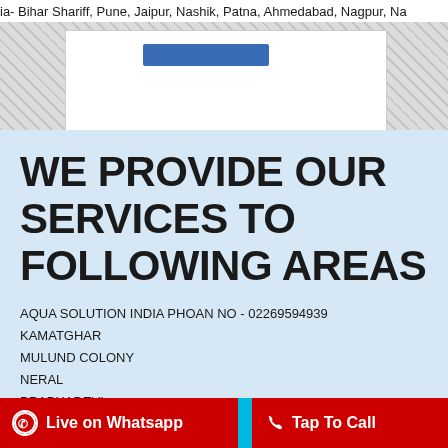ia- Bihar Shariff, Pune, Jaipur, Nashik, Patna, Ahmedabad, Nagpur, Na
[Figure (screenshot): Top section with hatched grey background pattern and a white box containing a blue button element]
WE PROVIDE OUR SERVICES TO FOLLOWING AREAS
AQUA SOLUTION INDIA PHOAN NO - 02269594939
KAMATGHAR
MULUND COLONY
NERAL
PRABHADEVI
9029292969
9029455532
Live on Whatsapp    Tap To Call